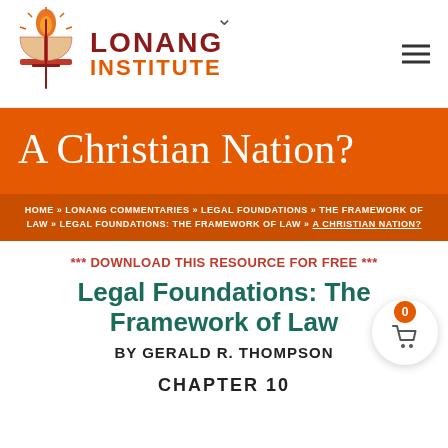[Figure (logo): Lonang Institute logo: red torch/flame with open book and sword symbol, beside bold text LONANG in dark red and INSTITUTE in orange]
LONANG INSTITUTE
A Christian Nation?
HOME » LONANG COMMENTARIES » LEGAL FOUNDATIONS » THE FRAMEWORK OF LAW » LEGAL FOUNDATIONS: THE FRAMEWORK OF LAW » A CHRISTIAN NATION?
*** DOWNLOAD THIS RESOURCE FOR FREE ***
Legal Foundations: The Framework of Law
BY GERALD R. THOMPSON
CHAPTER 10